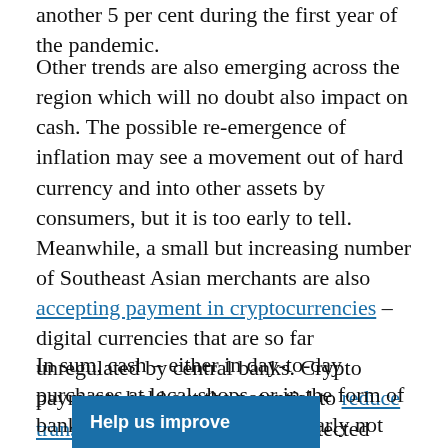another 5 per cent during the first year of the pandemic.
Other trends are also emerging across the region which will no doubt also impact on cash. The possible re-emergence of inflation may see a movement out of hard currency and into other assets by consumers, but it is too early to tell. Meanwhile, a small but increasing number of Southeast Asian merchants are also accepting payment in cryptocurrencies – digital currencies that are so far unregulated by central banks. Crypto payments hold out the potential to reduce transaction costs and enable protected borderless payments, but they have also been characterised by volatile and massive swings in value.
In sum, cash – either in day-to-day purchases at local shops, or in the form of banknotes in circulation – is clearly not going to disappear quickly. Why this might be s[…]athom; even central banks struggle